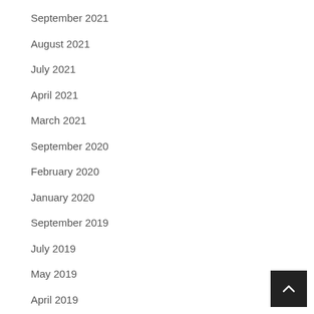September 2021
August 2021
July 2021
April 2021
March 2021
September 2020
February 2020
January 2020
September 2019
July 2019
May 2019
April 2019
March 2019